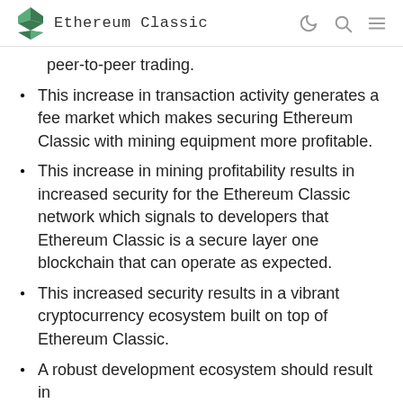Ethereum Classic
peer-to-peer trading.
This increase in transaction activity generates a fee market which makes securing Ethereum Classic with mining equipment more profitable.
This increase in mining profitability results in increased security for the Ethereum Classic network which signals to developers that Ethereum Classic is a secure layer one blockchain that can operate as expected.
This increased security results in a vibrant cryptocurrency ecosystem built on top of Ethereum Classic.
A robust development ecosystem should result in